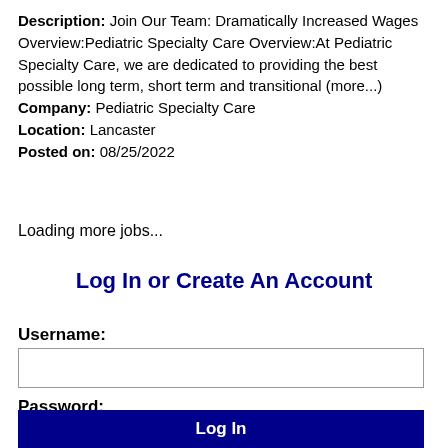Description: Join Our Team: Dramatically Increased Wages Overview:Pediatric Specialty Care Overview:At Pediatric Specialty Care, we are dedicated to providing the best possible long term, short term and transitional (more...) Company: Pediatric Specialty Care Location: Lancaster Posted on: 08/25/2022
Loading more jobs...
Log In or Create An Account
Username:
Password:
Log In